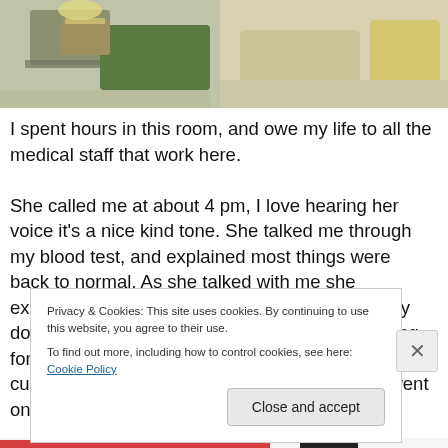[Figure (photo): Photo of a medical room interior showing a hospital-style desk/table with items on it, green furniture, and light-colored flooring visible.]
I spent hours in this room, and owe my life to all the medical staff that work here. She called me at about 4 pm, I love hearing her voice it's a nice kind tone. She talked me through my blood test, and explained most things were back to normal. As she talked with me she exsplained about the transplant. Saying that they don't send people for them unless they are aiming for cure, now I am not soft but I hung on that word cure. Like a lobster had its toe in its claw. She went on to
Privacy & Cookies: This site uses cookies. By continuing to use this website, you agree to their use.
To find out more, including how to control cookies, see here: Cookie Policy
Close and accept